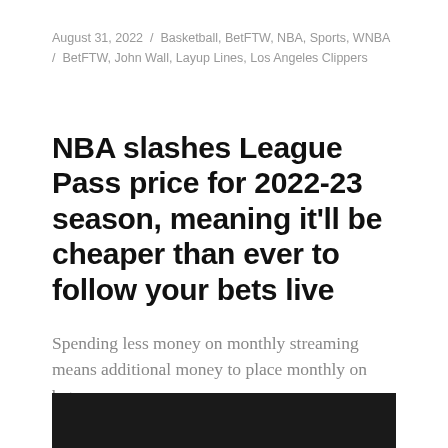August 31, 2022 / Basketball, BetFTW, NBA, Sports, WNBA / BetFTW, John Wall, Layup Lines, Los Angeles Clippers
NBA slashes League Pass price for 2022-23 season, meaning it'll be cheaper than ever to follow your bets live
Spending less money on monthly streaming means additional money to place monthly on bets.
[Figure (photo): Dark image strip at the bottom of the page, appears to be a TV or screen showing NBA content]